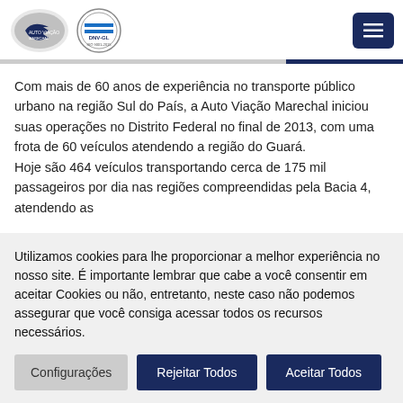[Figure (logo): Auto Viação Marechal logo and DNV-GL certification logo]
Com mais de 60 anos de experiência no transporte público urbano na região Sul do País, a Auto Viação Marechal iniciou suas operações no Distrito Federal no final de 2013, com uma frota de 60 veículos atendendo a região do Guará.
Hoje são 464 veículos transportando cerca de 175 mil passageiros por dia nas regiões compreendidas pela Bacia 4, atendendo as
Utilizamos cookies para lhe proporcionar a melhor experiência no nosso site. É importante lembrar que cabe a você consentir em aceitar Cookies ou não, entretanto, neste caso não podemos assegurar que você consiga acessar todos os recursos necessários.